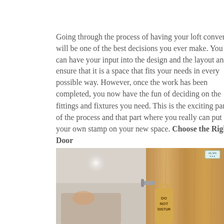Going through the process of having your loft converted will be one of the best decisions you ever make. You can have your input into the design and the layout and ensure that it is a space that fits your needs in every possible way. However, once the work has been completed, you now have the fun of deciding on the fittings and fixtures you need. This is the exciting part of the process and that part where you really can put your own stamp on your new space. Choose the Right Door
[Figure (photo): Interior photo of a loft bedroom with angled ceiling, soft lighting, and a wooden door in the foreground with a 'Do Not Disturb' hanger and a silver door handle.]